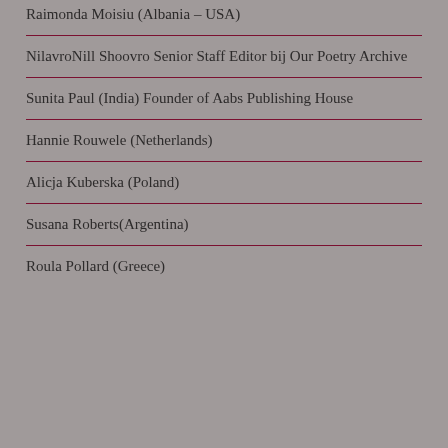Raimonda Moisiu (Albania – USA)
NilavroNill Shoovro Senior Staff Editor bij Our Poetry Archive
Sunita Paul (India) Founder of Aabs Publishing House
Hannie Rouwele (Netherlands)
Alicja Kuberska (Poland)
Susana Roberts(Argentina)
Roula Pollard (Greece)